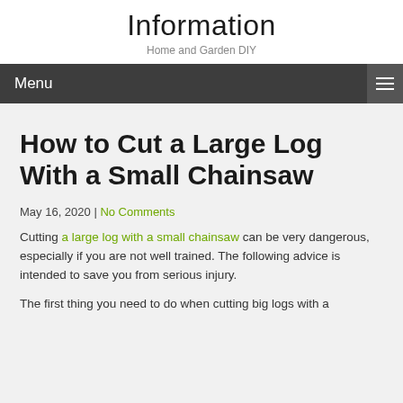Information
Home and Garden DIY
Menu
How to Cut a Large Log With a Small Chainsaw
May 16, 2020 | No Comments
Cutting a large log with a small chainsaw can be very dangerous, especially if you are not well trained. The following advice is intended to save you from serious injury.
The first thing you need to do when cutting big logs with a